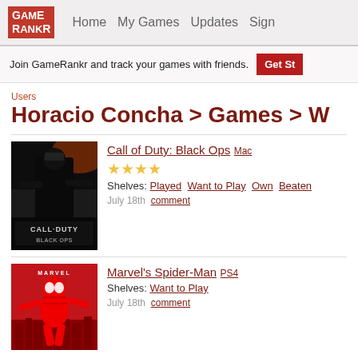GameRankr  Home  My Games  Updates  Sign
Join GameRankr and track your games with friends.  Get St
Users
Horacio Concha > Games > W
[Figure (photo): Call of Duty: Black Ops game cover art showing dark soldier figure]
Call of Duty: Black Ops  Mac
★★★★
Shelves: Played  Want to Play  Own  Beaten
July 18th  comment
[Figure (photo): Marvel's Spider-Man PS4 game cover art showing Spider-Man in red suit against red background]
Marvel's Spider-Man  PS4
Shelves: Want to Play
July 18th  comment